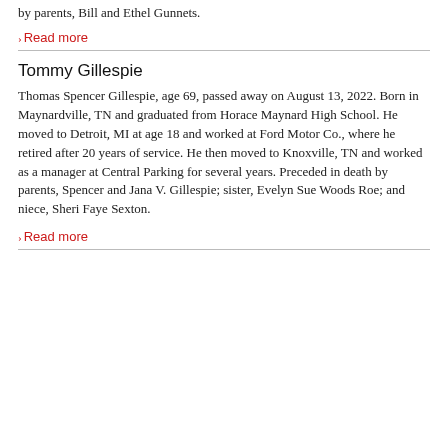by parents, Bill and Ethel Gunnets.
› Read more
Tommy Gillespie
Thomas Spencer Gillespie, age 69, passed away on August 13, 2022. Born in Maynardville, TN and graduated from Horace Maynard High School. He moved to Detroit, MI at age 18 and worked at Ford Motor Co., where he retired after 20 years of service. He then moved to Knoxville, TN and worked as a manager at Central Parking for several years. Preceded in death by parents, Spencer and Jana V. Gillespie; sister, Evelyn Sue Woods Roe; and niece, Sheri Faye Sexton.
› Read more